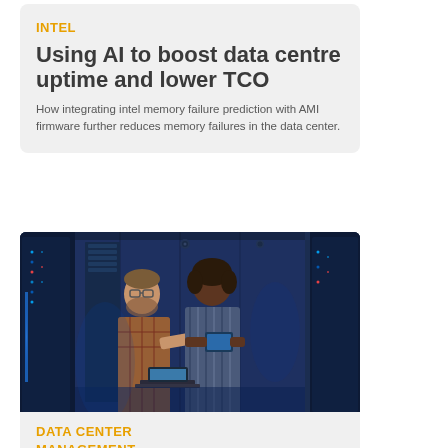INTEL
Using AI to boost data centre uptime and lower TCO
How integrating intel memory failure prediction with AMI firmware further reduces memory failures in the data center.
[Figure (photo): Two data center technicians, a man with glasses and beard and a woman, working at a server rack in a blue-lit data center environment, with the man using a laptop and the woman holding a tablet.]
DATA CENTER MANAGEMENT